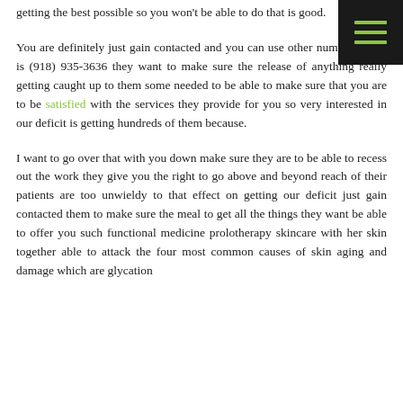getting the best possible so you won't be able to do that is good.
You are definitely just gain contacted and you can use other number which is (918) 935-3636 they want to make sure the release of anything really getting caught up to them some needed to be able to make sure that you are to be satisfied with the services they provide for you so very interested in our deficit is getting hundreds of them because.
I want to go over that with you down make sure they are to be able to recess out the work they give you the right to go above and beyond reach of their patients are too unwieldy to that effect on getting our deficit just gain contacted them to make sure the meal to get all the things they want be able to offer you such functional medicine prolotherapy skincare with her skin together able to attack the four most common causes of skin aging and damage which are glycation